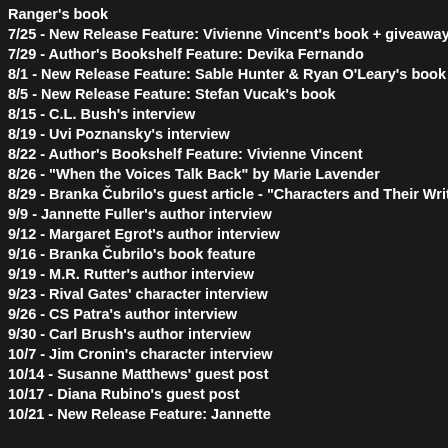Ranger's book
7/25 - New Release Feature: Vivienne Vincent's book + giveaway
7/29 - Author's Bookshelf Feature: Devika Fernando
8/1 - New Release Feature: Sable Hunter & Ryan O'Leary's book
8/5 - New Release Feature: Stefan Vucak's book
8/15 - C.L. Bush's interview
8/19 - Uvi Poznansky's interview
8/22 - Author's Bookshelf Feature: Vivienne Vincent
8/26 - "When the Voices Talk Back" by Marie Lavender
8/29 - Branka Čubrilo's guest article - "Characters and Their Writers"
9/9 - Jannette Fuller's author interview
9/12 - Margaret Egrot's author interview
9/16 - Branka Čubrilo's book feature
9/19 - M.R. Rutter's author interview
9/23 - Rival Gates' character interview
9/26 - CS Patra's author interview
9/30 - Carl Brush's author interview
10/7 - Jim Cronin's character interview
10/14 - Susanne Matthews' guest post
10/17 - Diana Rubino's guest post
10/21 - New Release Feature: Jannette
4 comme
McKe...
Thanks
Reply
Reply
[Figure (photo): Small book cover thumbnail]
Reply
Review...
Thank
Reply
Rep